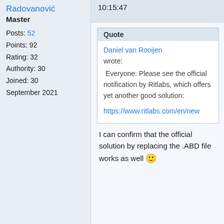Radovanović
Master
Posts: 52
Points: 92
Rating: 32
Authority: 30
Joined: 30
September 2021
10:15:47
Quote
Daniel van Rooijen wrote:
 Everyone: Please see the official notification by Ritlabs, which offers yet another good solution:

https://www.ritlabs.com/en/ne
I can confirm that the official solution by replacing the .ABD file works as well 🙂